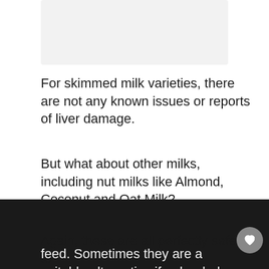[Figure (photo): Light gray rectangular image placeholder at the top of the page]
For skimmed milk varieties, there are not any known issues or reports of liver damage.
But what about other milks, including nut milks like Almond, Coconut and Oat Milk?
Again, these are all perfectly safe to feed. Sometimes they are a suitable alternative if only whole milk